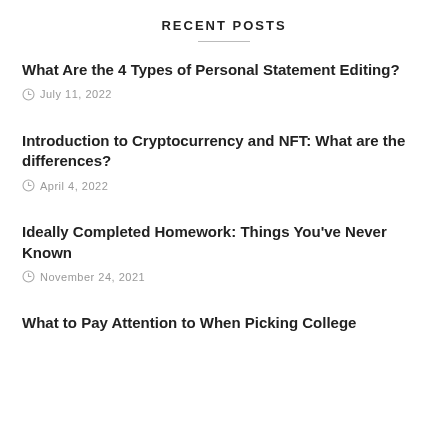RECENT POSTS
What Are the 4 Types of Personal Statement Editing?
July 11, 2022
Introduction to Cryptocurrency and NFT: What are the differences?
April 4, 2022
Ideally Completed Homework: Things You've Never Known
November 24, 2021
What to Pay Attention to When Picking College